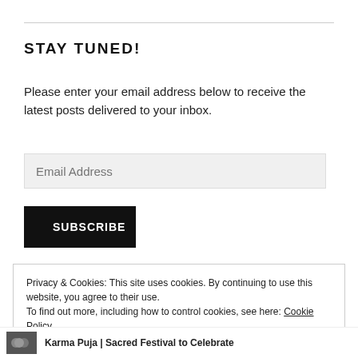STAY TUNED!
Please enter your email address below to receive the latest posts delivered to your inbox.
Email Address
SUBSCRIBE
Privacy & Cookies: This site uses cookies. By continuing to use this website, you agree to their use.
To find out more, including how to control cookies, see here: Cookie Policy
Close and accept
Karma Puja | Sacred Festival to Celebrate